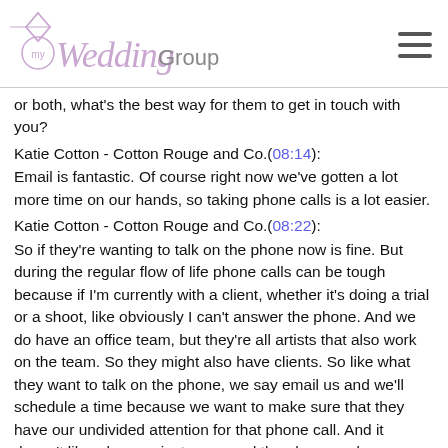[Figure (logo): myWeddingGroup logo with diamond icon and stylized script text]
or both, what's the best way for them to get in touch with you?
Katie Cotton  - Cotton Rouge and Co.(08:14):
Email is fantastic. Of course right now we've gotten a lot more time on our hands, so taking phone calls is a lot easier.
Katie Cotton  - Cotton Rouge and Co.(08:22):
So if they're wanting to talk on the phone now is fine. But during the regular flow of life phone calls can be tough because if I'm currently with a client, whether it's doing a trial or a shoot, like obviously I can't answer the phone. And we do have an office team, but they're all artists that also work on the team. So they might also have clients. So like what they want to talk on the phone, we say email us and we'll schedule a time because we want to make sure that they have our undivided attention for that phone call. And it doesn't like when we just answered the phone and sometimes I'm, Oh you have a client coming in 10 minutes. So I don't want to answer this cause what if this client wants to talk for 20? So we try to schedule our phone calls just to make